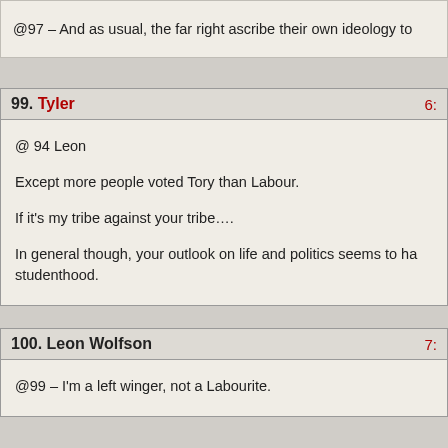@97 – And as usual, the far right ascribe their own ideology to
99. Tyler
@ 94 Leon

Except more people voted Tory than Labour.

If it's my tribe against your tribe….

In general though, your outlook on life and politics seems to ha… studenthood.
100. Leon Wolfson
@99 – I'm a left winger, not a Labourite.